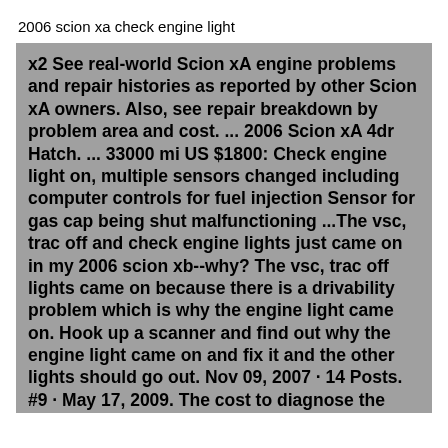2006 scion xa check engine light
x2 See real-world Scion xA engine problems and repair histories as reported by other Scion xA owners. Also, see repair breakdown by problem area and cost. ... 2006 Scion xA 4dr Hatch. ... 33000 mi US $1800: Check engine light on, multiple sensors changed including computer controls for fuel injection Sensor for gas cap being shut malfunctioning ...The vsc, trac off and check engine lights just came on in my 2006 scion xb--why? The vsc, trac off lights came on because there is a drivability problem which is why the engine light came on. Hook up a scanner and find out why the engine light came on and fix it and the other lights should go out. Nov 09, 2007 · 14 Posts. #9 · May 17, 2009. The cost to diagnose the P0420 2006 SCION XB code is 1.0 hour of labor. The auto repair's diagnosis time and labor rates vary by location, vehicle's make and model, and even your engine type.